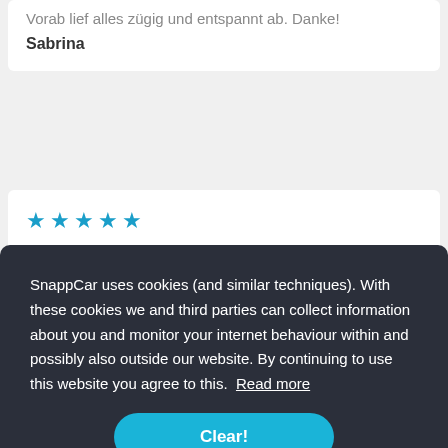Vorab lief alles zügig und entspannt ab. Danke!
Sabrina
★★★★★
Alles super. Nette, unkomplizierte Übergabe.
SnappCar uses cookies (and similar techniques). With these cookies we and third parties can collect information about you and monitor your internet behaviour within and possibly also outside our website. By continuing to use this website you agree to this. Read more
Clear!
Auto war sehr sauber und alles ist glatt gelaufen